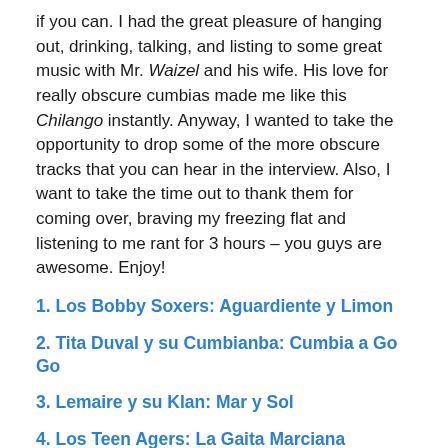if you can. I had the great pleasure of hanging out, drinking, talking, and listing to some great music with Mr. Waizel and his wife. His love for really obscure cumbias made me like this Chilango instantly. Anyway, I wanted to take the opportunity to drop some of the more obscure tracks that you can hear in the interview. Also, I want to take the time out to thank them for coming over, braving my freezing flat and listening to me rant for 3 hours – you guys are awesome. Enjoy!
1. Los Bobby Soxers: Aguardiente y Limon
2. Tita Duval y su Cumbianba: Cumbia a Go Go
3. Lemaire y su Klan: Mar y Sol
4. Los Teen Agers: La Gaita Marciana